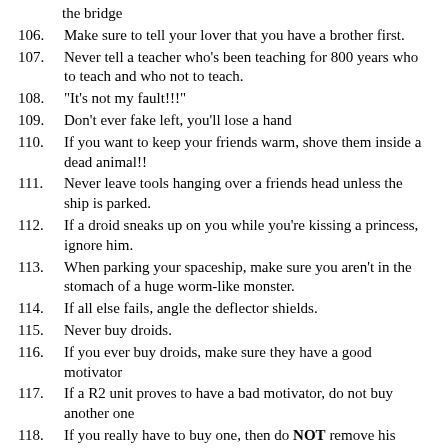the bridge
106. Make sure to tell your lover that you have a brother first.
107. Never tell a teacher who's been teaching for 800 years who to teach and who not to teach.
108. "It's not my fault!!!"
109. Don't ever fake left, you'll lose a hand
110. If you want to keep your friends warm, shove them inside a dead animal!!
111. Never leave tools hanging over a friends head unless the ship is parked.
112. If a droid sneaks up on you while you're kissing a princess, ignore him.
113. When parking your spaceship, make sure you aren't in the stomach of a huge worm-like monster.
114. If all else fails, angle the deflector shields.
115. Never buy droids.
116. If you ever buy droids, make sure they have a good motivator
117. If a R2 unit proves to have a bad motivator, do not buy another one
118. If you really have to buy one, then do NOT remove his restraining bolt
119. If, in spite of all that, you have removed the restraining bolt, then you will have to learn the ways of the Force and become a Jedi like your father (even if you only wanted to